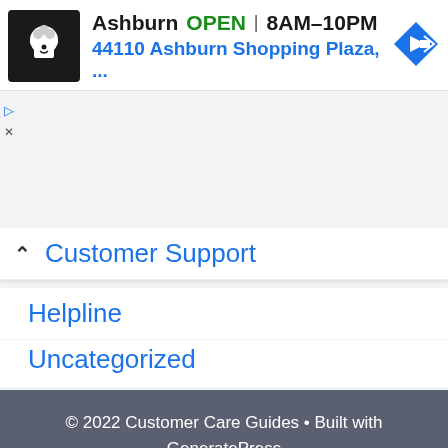[Figure (screenshot): Google Maps / local business ad banner showing Ashburn location: OPEN 8AM-10PM, 44110 Ashburn Shopping Plaza with logo and directions icon]
Customer Support
Helpline
Uncategorized
© 2022 Customer Care Guides • Built with GeneratePress